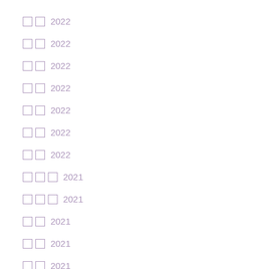□□ 2022
□□ 2022
□□ 2022
□□ 2022
□□ 2022
□□ 2022
□□ 2022
□□□ 2021
□□□ 2021
□□ 2021
□□ 2021
□□ 2021
□□ 2021